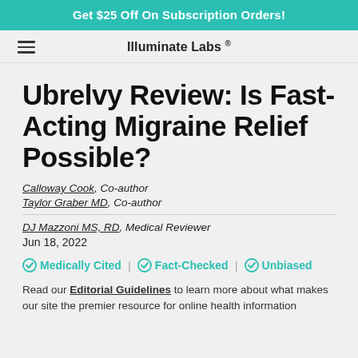Get $25 Off On Subscription Orders!
Illuminate Labs®
Ubrelvy Review: Is Fast-Acting Migraine Relief Possible?
Calloway Cook, Co-author
Taylor Graber MD, Co-author
DJ Mazzoni MS, RD, Medical Reviewer
Jun 18, 2022
Medically Cited | Fact-Checked | Unbiased
Read our Editorial Guidelines to learn more about what makes our site the premier resource for online health information